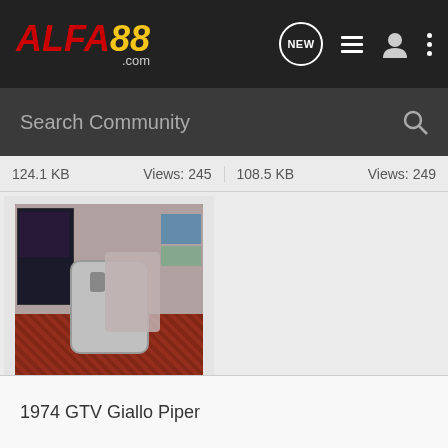[Figure (logo): ALFA88.com logo in red and yellow italic text on dark background]
Search Community
124.1 KB    Views: 245    108.5 KB    Views: 249
[Figure (photo): Photo of a beer keg on an orange trolley/stand in a room with merchandise posters on the wall and patterned carpet]
photo3.jpg
130.1 KB    Views: 259
1974 GTV Giallo Piper